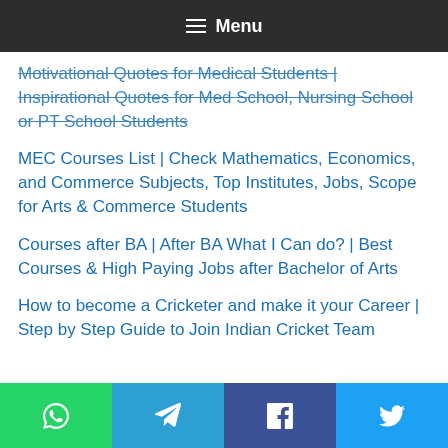Menu
Motivational Quotes for Medical Students | Inspirational Quotes for Med School, Nursing School or PT School Students
MEC Courses List | Check Mathematics, Economics, and Commerce Subjects, Top Institutes, Jobs, Scope for Arts & Commerce Students
Courses after BA | After BA What I Can do? | Best Courses & High Paying Jobs after Bachelor of Arts
How to become a Cricketer and make it your Career | Step by Step Guide to Join Indian Cricket Team
[Figure (infographic): Social share buttons row: WhatsApp (green), Telegram (blue), Facebook (dark blue), Twitter (light blue)]